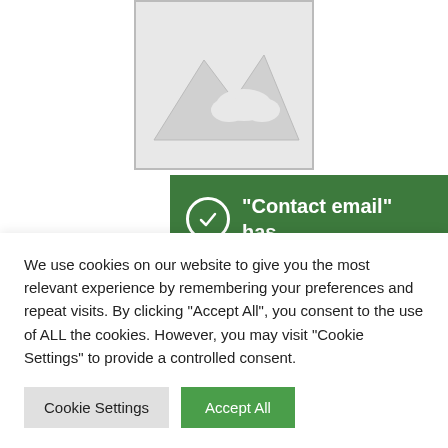[Figure (illustration): Placeholder image icon (mountain/landscape silhouette outline in gray)]
[Figure (screenshot): Green notification banner with checkmark circle icon and text: "Contact email" has been added to your cart. Close X button at bottom right.]
We use cookies on our website to give you the most relevant experience by remembering your preferences and repeat visits. By clicking "Accept All", you consent to the use of ALL the cookies. However, you may visit "Cookie Settings" to provide a controlled consent.
Cookie Settings
Accept All